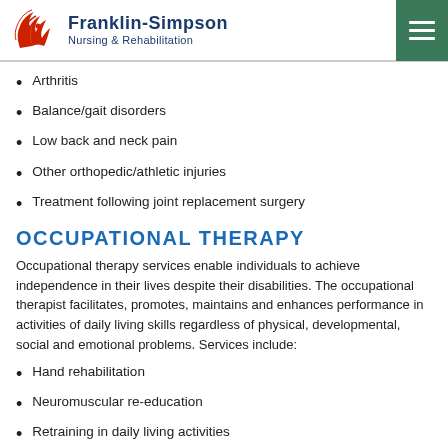Franklin-Simpson Nursing & Rehabilitation
Arthritis
Balance/gait disorders
Low back and neck pain
Other orthopedic/athletic injuries
Treatment following joint replacement surgery
OCCUPATIONAL THERAPY
Occupational therapy services enable individuals to achieve independence in their lives despite their disabilities. The occupational therapist facilitates, promotes, maintains and enhances performance in activities of daily living skills regardless of physical, developmental, social and emotional problems. Services include:
Hand rehabilitation
Neuromuscular re-education
Retraining in daily living activities